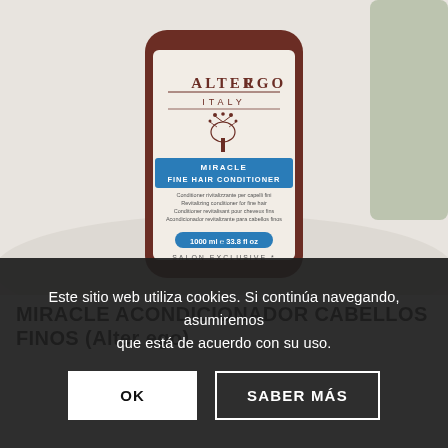[Figure (photo): A large jar/bottle of Alter Ego Italy Miracle Fine Hair Conditioner, 1000ml / 33.8 fl oz, Salon Exclusive, on a marble surface with a blurred background.]
MIRACLE ACONDICIONADOR CABELLOS FINOS (Alter ego)
Alter ego
Este sitio web utiliza cookies. Si continúa navegando, asumiremos que está de acuerdo con su uso.